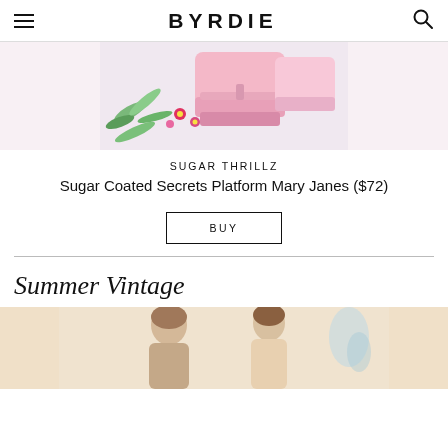BYRDIE
[Figure (photo): Pink platform Mary Jane shoes with flowers and greenery in background]
SUGAR THRILLZ
Sugar Coated Secrets Platform Mary Janes ($72)
BUY
Summer Vintage
[Figure (photo): Two women in vintage summer outfits, cropped at bottom of page]